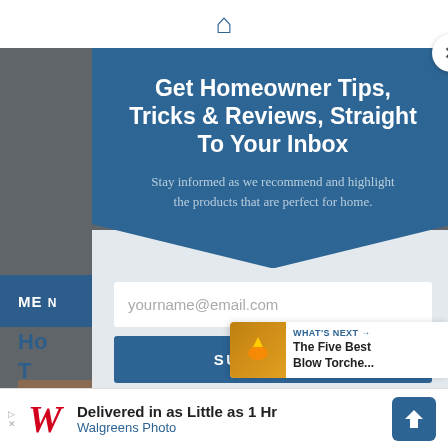Get Homeowner Tips, Tricks & Reviews, Straight To Your Inbox
Stay informed as we recommend and highlight the products that are perfect for home.
yourname@email.com
SUBSCRIBE!
*perfectforhome.com does not share your email with
WHAT'S NEXT → The Five Best Blow Torche...
Delivered in as Little as 1 Hr
Walgreens Photo